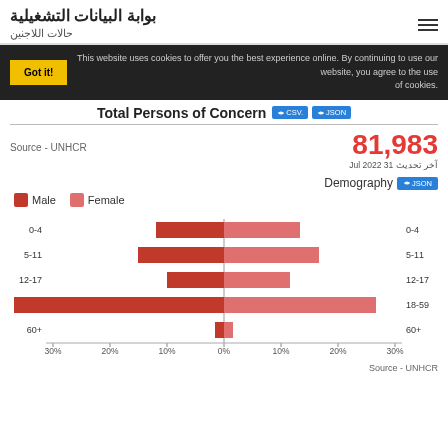بوابة البيانات التشغيلية — حالات اللاجنين
This website uses cookies to offer you the best experience online. By continuing to use our website, you agree to the use of cookies.
Total Persons of Concern
Source - UNHCR
81,983
آخر تحديث 31 Jul 2022
Demography
Male Female
[Figure (bar-chart): Population Pyramid by Age Group]
Source - UNHCR